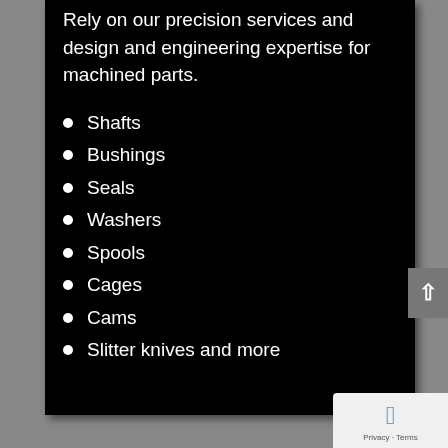Rely on our precision services and design and engineering expertise for machined parts.
Shafts
Bushings
Seals
Washers
Spools
Cages
Cams
Slitter knives and more